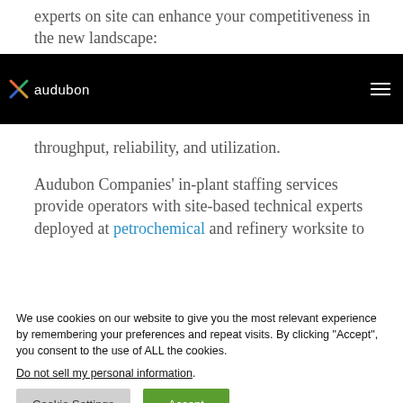experts on site can enhance your competitiveness in the new landscape:
audubon [logo/nav bar]
throughput, reliability, and utilization.
Audubon Companies' in-plant staffing services provide operators with site-based technical experts deployed at petrochemical and refinery worksite to
We use cookies on our website to give you the most relevant experience by remembering your preferences and repeat visits. By clicking "Accept", you consent to the use of ALL the cookies.
Do not sell my personal information.